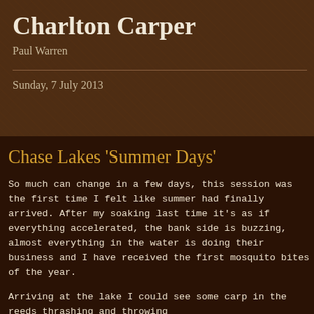Charlton Carper
Paul Warren
Sunday, 7 July 2013
Chase Lakes 'Summer Days'
So much can change in a few days, this session was the first time I felt like summer had finally arrived. After my soaking last time it's as if everything accelerated, the bank side is buzzing, almost everything in the water is doing their business and I have received the first mosquito bites of the year.
Arriving at the lake I could see some carp in the reeds thrashing and throwing